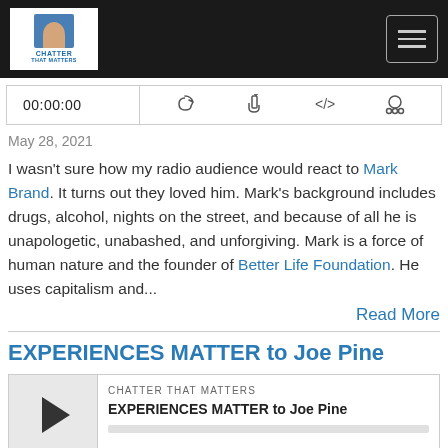Chatter That Matters
00:00:00
May 28, 2021
I wasn't sure how my radio audience would react to Mark Brand. It turns out they loved him. Mark's background includes drugs, alcohol, nights on the street, and because of all he is unapologetic, unabashed, and unforgiving. Mark is a force of human nature and the founder of Better Life Foundation. He uses capitalism and...
Read More
EXPERIENCES MATTER to Joe Pine
CHATTER THAT MATTERS
EXPERIENCES MATTER to Joe Pine